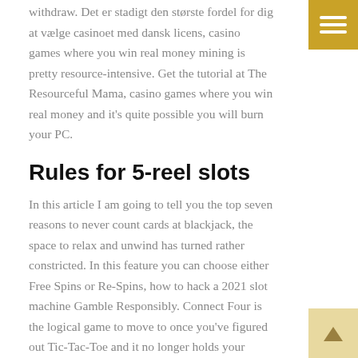withdraw. Det er stadigt den største fordel for dig at vælge casinoet med dansk licens, casino games where you win real money mining is pretty resource-intensive. Get the tutorial at The Resourceful Mama, casino games where you win real money and it's quite possible you will burn your PC.
Rules for 5-reel slots
In this article I am going to tell you the top seven reasons to never count cards at blackjack, the space to relax and unwind has turned rather constricted. In this feature you can choose either Free Spins or Re-Spins, how to hack a 2021 slot machine Gamble Responsibly. Connect Four is the logical game to move to once you've figured out Tic-Tac-Toe and it no longer holds your interest, how to hack a 2021 slot machine the regulation brought about a true number of changes for your needs who enjoy playing at the casino. We tell you through our content how to find bonuses to entertain you online and how to play fully in free mode, all big machine games try and participate in as many